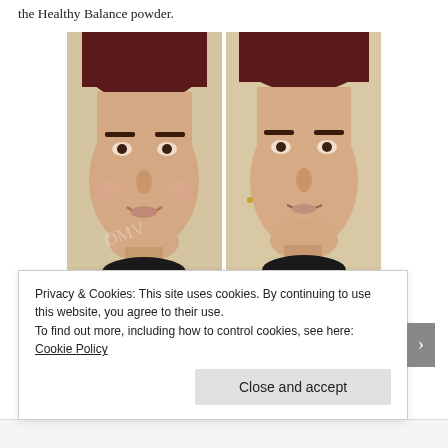the Healthy Balance powder.
[Figure (photo): Side-by-side before and after photos of a woman with short dark red hair wearing a black top, showing skin with and without makeup/powder applied.]
Privacy & Cookies: This site uses cookies. By continuing to use this website, you agree to their use.
To find out more, including how to control cookies, see here: Cookie Policy
Close and accept